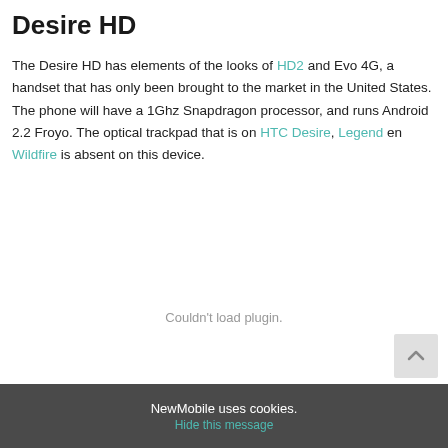Desire HD
The Desire HD has elements of the looks of HD2 and Evo 4G, a handset that has only been brought to the market in the United States. The phone will have a 1Ghz Snapdragon processor, and runs Android 2.2 Froyo. The optical trackpad that is on HTC Desire, Legend en Wildfire is absent on this device.
Couldn't load plugin.
NewMobile uses cookies.
Hide this message